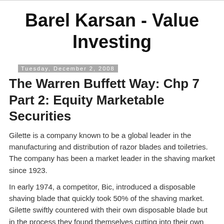Barel Karsan - Value Investing
Tuesday, December 2, 2008
The Warren Buffett Way: Chp 7 Part 2: Equity Marketable Securities
Gilette is a company known to be a global leader in the manufacturing and distribution of razor blades and toiletries. The company has been a market leader in the shaving market since 1923.
In early 1974, a competitor, Bic, introduced a disposable shaving blade that quickly took 50% of the shaving market. Gilette swiftly countered with their own disposable blade but in the process they found themselves cutting into their own